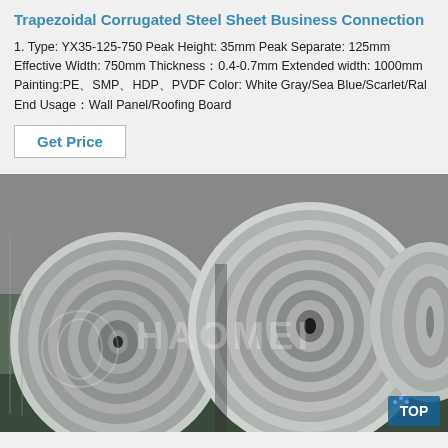Trapezoidal Corrugated Steel Sheet Business Connection
1. Type: YX35-125-750 Peak Height: 35mm Peak Separate: 125mm Effective Width: 750mm Thickness：0.4-0.7mm Extended width: 1000mm Painting:PE、SMP、HDP、PVDF Color: White Gray/Sea Blue/Scarlet/Ral End Usage：Wall Panel/Roofing Board
Get Price
[Figure (photo): Industrial steel coils in a warehouse, large cylindrical rolls of corrugated galvanized steel sheet with HAOMEI watermark overlay]